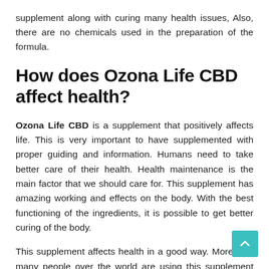supplement along with curing many health issues, Also, there are no chemicals used in the preparation of the formula.
How does Ozona Life CBD affect health?
Ozona Life CBD is a supplement that positively affects life. This is very important to have supplemented with proper guiding and information. Humans need to take better care of their health. Health maintenance is the main factor that we should care for. This supplement has amazing working and effects on the body. With the best functioning of the ingredients, it is possible to get better curing of the body.
This supplement affects health in a good way. Moreover, many people over the world are using this supplement and getting amazing benefits.